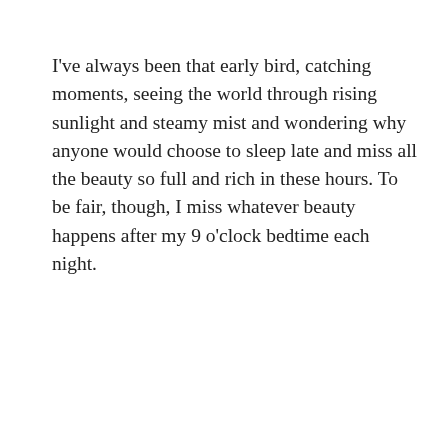I've always been that early bird, catching moments, seeing the world through rising sunlight and steamy mist and wondering why anyone would choose to sleep late and miss all the beauty so full and rich in these hours. To be fair, though, I miss whatever beauty happens after my 9 o'clock bedtime each night.